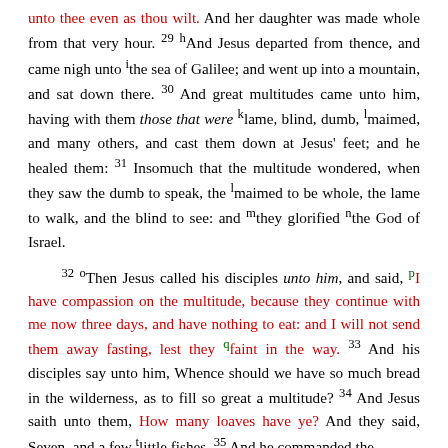unto thee even as thou wilt. And her daughter was made whole from that very hour. 29 hAnd Jesus departed from thence, and came nigh unto ithe sea of Galilee; and went up into a mountain, and sat down there. 30 And great multitudes came unto him, having with them those that were klame, blind, dumb, lmaimed, and many others, and cast them down at Jesus' feet; and he healed them: 31 Insomuch that the multitude wondered, when they saw the dumb to speak, the lmaimed to be whole, the lame to walk, and the blind to see: and mthey glorified nthe God of Israel.
32 oThen Jesus called his disciples unto him, and said, pI have compassion on the multitude, because they continue with me now three days, and have nothing to eat: and I will not send them away fasting, lest they qfaint in the way. 33 And his disciples say unto him, Whence should we have so much bread in the wilderness, as to fill so great a multitude? 34 And Jesus saith unto them, How many loaves have ye? And they said, Seven, and a few tlittle fishes. 35 And he commanded the